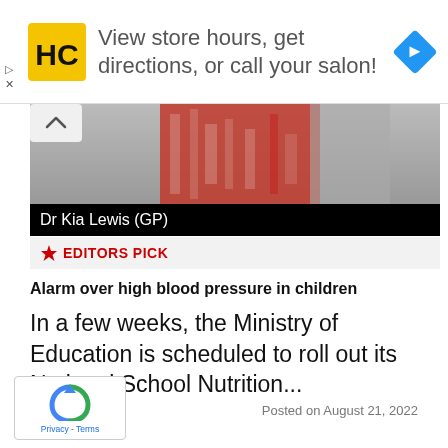[Figure (infographic): Advertisement banner: HC logo (yellow square with black HC text), text 'View store hours, get directions, or call your salon!', blue diamond arrow icon on right]
[Figure (photo): Partial photo of a person wearing a red and white patterned garment, with a gray background. A chevron/up-arrow button is overlaid on top left.]
Dr Kia Lewis (GP)
EDITORS PICK
Alarm over high blood pressure in children
In a few weeks, the Ministry of Education is scheduled to roll out its National School Nutrition...
Posted on August 21, 2022
[Figure (logo): reCAPTCHA badge with recycling-arrow logo, Privacy and Terms links]